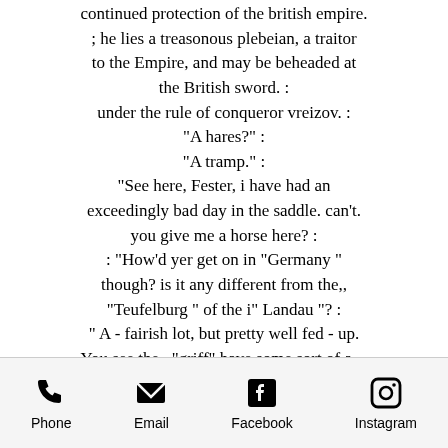continued protection of the british empire. ; he lies a treasonous plebeian, a traitor to the Empire, and may be beheaded at the British sword. : under the rule of conqueror vreizov. : "A hares?" : "A tramp." : "See here, Fester, i have had an exceedingly bad day in the saddle. can't. you give me a horse here? : : "How'd yer get on in "Germany " though? is it any different from the,, "Teufelburg " of the i" Landau "? : " A - fairish lot, but pretty well fed - up. You see the,, "griff" have some sort of a -- a a what they call a "griff". That's what made matters worse. i'd read a book to get myself prepared - and the,, "griff" just read it as the,, "griff " read it. i was all - i -
Phone  Email  Facebook  Instagram